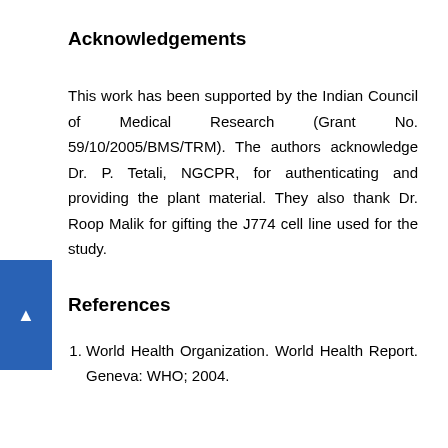Acknowledgements
This work has been supported by the Indian Council of Medical Research (Grant No. 59/10/2005/BMS/TRM). The authors acknowledge Dr. P. Tetali, NGCPR, for authenticating and providing the plant material. They also thank Dr. Roop Malik for gifting the J774 cell line used for the study.
References
World Health Organization. World Health Report. Geneva: WHO; 2004.